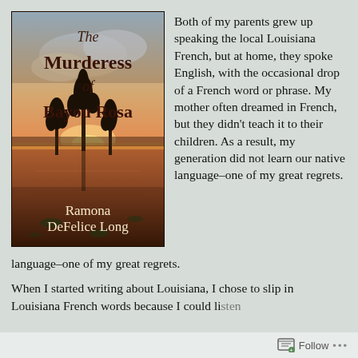[Figure (photo): Book cover of 'The Murderess of Bayou Rosa' by Ramona DeFelice Long, showing a bayou sunset scene with cypress trees reflected in still water.]
Both of my parents grew up speaking the local Louisiana French, but at home, they spoke English, with the occasional drop of a French word or phrase. My mother often dreamed in French, but they didn't teach it to their children. As a result, my generation did not learn our native language–one of my great regrets.
When I started writing about Louisiana, I chose to slip in Louisiana French words because I could listen…